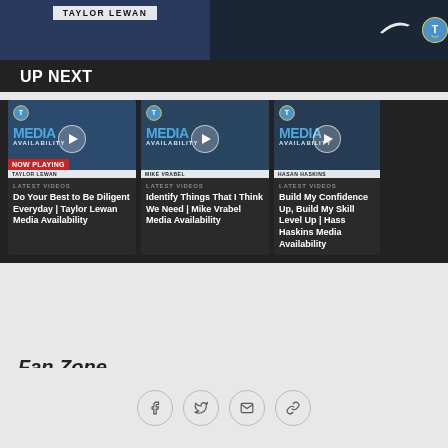[Figure (screenshot): Hero video thumbnail showing Taylor Lewan with Titans branding and Nike logo]
UP NEXT
[Figure (screenshot): Video thumbnail: Media Availability with Taylor Lewan. NOW PLAYING badge visible.]
LATEST VIDEOS
Do Your Best to Be Diligent Everyday | Taylor Lewan Media Availability
[Figure (screenshot): Video thumbnail: Media Availability with Mike Vrabel]
LATEST VIDEOS
Identify Things That I Think We Need | Mike Vrabel Media Availability
[Figure (screenshot): Video thumbnail: Media Availability with Hasan Haskins]
LATEST VIDEOS
Build My Confidence Up, Build My Skill Level Up | Hasan Haskins Media Availability
Fan Zone
[Figure (other): Social sharing icons: Facebook, Twitter, Email, Link]